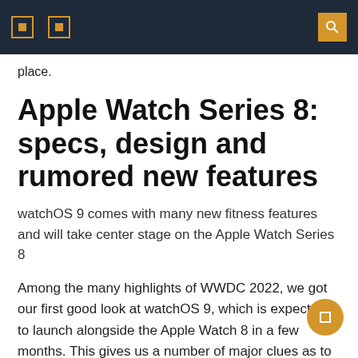Navigation header with icons and search button
place.
Apple Watch Series 8: specs, design and rumored new features
watchOS 9 comes with many new fitness features and will take center stage on the Apple Watch Series 8
Among the many highlights of WWDC 2022, we got our first good look at watchOS 9, which is expected to launch alongside the Apple Watch 8 in a few months. This gives us a number of major clues as to what to expect from Apple’s next flagship smartwatch, as in addition to offering the usual bag of new watch faces, it’s packed with new health and fitness features. fitness, especially those aimed at runners and outdoor athletes. .